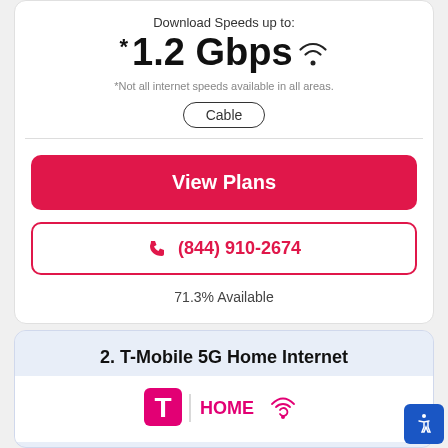Download Speeds up to:
*1.2 Gbps
*Not all internet speeds available in all areas.
Cable
View Plans
(844) 910-2674
71.3% Available
2. T-Mobile 5G Home Internet
[Figure (logo): T-Mobile HOME logo with magenta T and HOME text with wifi signal]